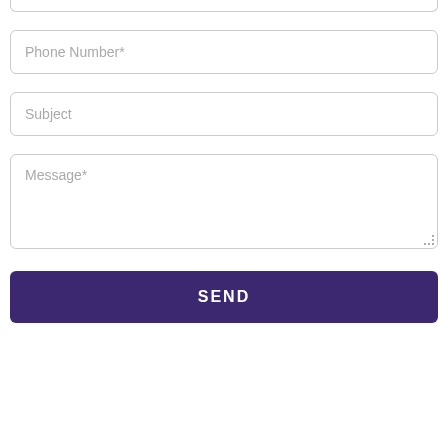[Figure (screenshot): A web contact form showing three input fields (Phone Number*, Subject, Message*) and a SEND button. The top of the page shows a partially visible input field. All fields have rounded border styling. The SEND button is dark purple with white text.]